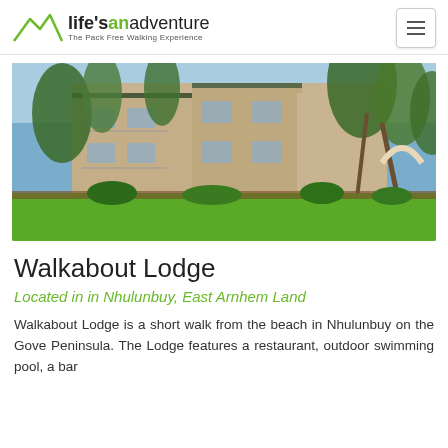life'sanadventure – The Pack Free Walking Experience
[Figure (photo): Exterior photo of Walkabout Lodge showing two-storey building with balconies, surrounded by tropical palm trees and lush green lawn]
Walkabout Lodge
Located in in Nhulunbuy, East Arnhem Land
Walkabout Lodge is a short walk from the beach in Nhulunbuy on the Gove Peninsula. The Lodge features a restaurant, outdoor swimming pool, a bar and...